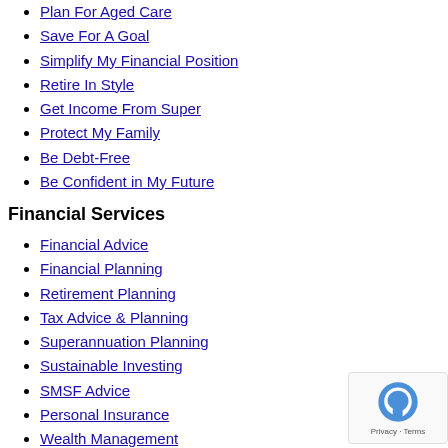Plan For Aged Care
Save For A Goal
Simplify My Financial Position
Retire In Style
Get Income From Super
Protect My Family
Be Debt-Free
Be Confident in My Future
Financial Services
Financial Advice
Financial Planning
Retirement Planning
Tax Advice & Planning
Superannuation Planning
Sustainable Investing
SMSF Advice
Personal Insurance
Wealth Management
Cash Flow & Budget
Debt Management
Estate Planning
Aged Care Financial Advice
Centrelink & Age Pension Advice